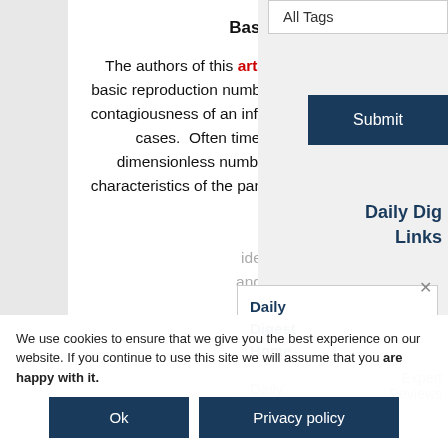Basic Reproduction Number (R0)
The authors of this article discuss the meaning and misinterpretation of the basic reproduction number (R0) which is a mathematical term that indicates the contagiousness of an infectious disease by identifying the number of secondary cases.  Often times, R0 is misinterpreted as a rate but it is rather a dimensionless number.  The number can be used to understand various characteristics of the pandemic such as establishing a [faded text continues]
All Tags
Submit
Daily Dig Links
Daily Digest Home
Daily Digest About
Expert Reviews
We use cookies to ensure that we give you the best experience on our website. If you continue to use this site we will assume that you are happy with it.
Ok
Privacy policy